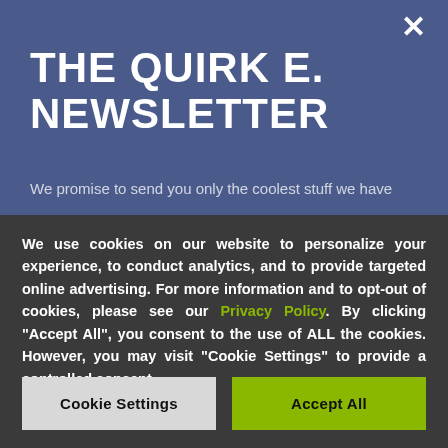THE QUIRK E. NEWSLETTER
We promise to send you only the coolest stuff we have
We use cookies on our website to personalize your experience, to conduct analytics, and to provide targeted online advertising. For more information and to opt-out of cookies, please see our Privacy Policy. By clicking "Accept All", you consent to the use of ALL the cookies. However, you may visit "Cookie Settings" to provide a controlled consent.